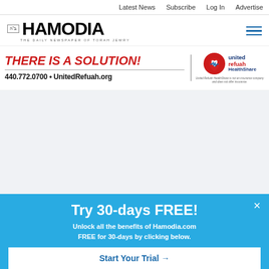Latest News  Subscribe  Log In  Advertise
[Figure (logo): Hamodia newspaper logo with Hebrew text and tagline 'The Daily Newspaper of Torah Jewry']
[Figure (infographic): United Refuah HealthShare advertisement banner with text 'THERE IS A SOLUTION!' in red, phone number 440.772.0700, UnitedRefuah.org, and United Refuah HealthShare logo]
[Figure (infographic): Hamodia.com subscription popup: Try 30-days FREE! Unlock all the benefits of Hamodia.com FREE for 30-days by clicking below. Start Your Trial button.]